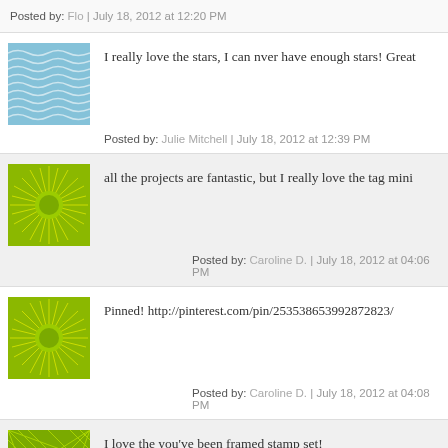Posted by: Flo | July 18, 2012 at 12:20 PM
I really love the stars, I can nver have enough stars! Great
Posted by: Julie Mitchell | July 18, 2012 at 12:39 PM
all the projects are fantastic, but I really love the tag mini
Posted by: Caroline D. | July 18, 2012 at 04:06 PM
Pinned! http://pinterest.com/pin/253538653992872823/
Posted by: Caroline D. | July 18, 2012 at 04:08 PM
I love the you've been framed stamp set!
Posted by: Kimberly Landers | July 18, 2012 at 07:28 PM
I love the You've been framed stamp set.